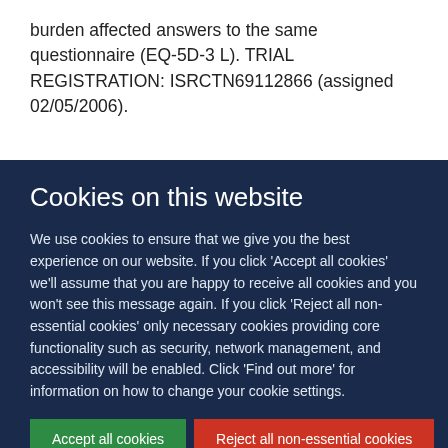burden affected answers to the same questionnaire (EQ-5D-3 L). TRIAL REGISTRATION: ISRCTN69112866 (assigned 02/05/2006).
Cookies on this website
We use cookies to ensure that we give you the best experience on our website. If you click 'Accept all cookies' we'll assume that you are happy to receive all cookies and you won't see this message again. If you click 'Reject all non-essential cookies' only necessary cookies providing core functionality such as security, network management, and accessibility will be enabled. Click 'Find out more' for information on how to change your cookie settings.
Accept all cookies | Reject all non-essential cookies | Find out more